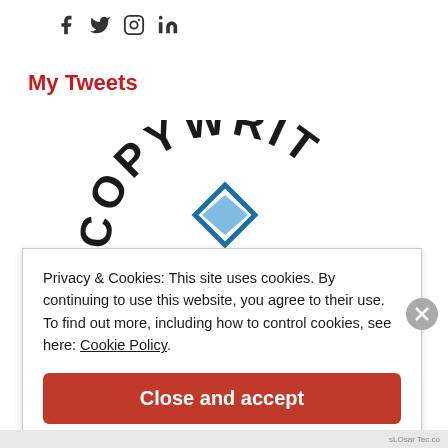[Figure (logo): Social media icons: Facebook, Twitter, Instagram, LinkedIn]
My Tweets
[Figure (logo): COPYWRIT logo with arched text and envelope/diamond icon in blue]
Privacy & Cookies: This site uses cookies. By continuing to use this website, you agree to their use. To find out more, including how to control cookies, see here: Cookie Policy.
Close and accept